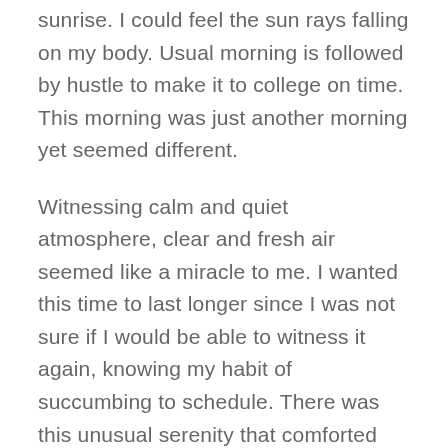sunrise. I could feel the sun rays falling on my body. Usual morning is followed by hustle to make it to college on time. This morning was just another morning yet seemed different.
Witnessing calm and quiet atmosphere, clear and fresh air seemed like a miracle to me. I wanted this time to last longer since I was not sure if I would be able to witness it again, knowing my habit of succumbing to schedule. There was this unusual serenity that comforted my mind. It dawned on me, how distant I had been from nature. Standing near the compound's gate, feeling the moistness that the air carried, I thought about my life so far.